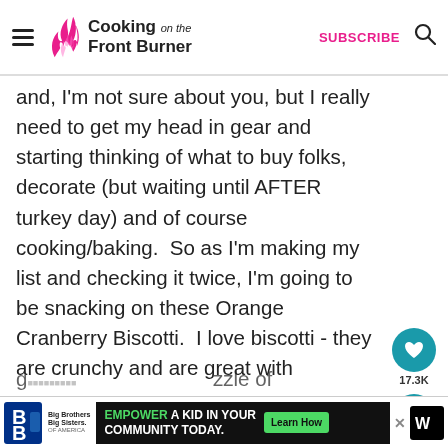Cooking on the Front Burner | SUBSCRIBE
and, I'm not sure about you, but I really need to get my head in gear and starting thinking of what to buy folks, decorate (but waiting until AFTER turkey day) and of course cooking/baking.  So as I'm making my list and checking it twice, I'm going to be snacking on these Orange Cranberry Biscotti.  I love biscotti - they are crunchy and are great with c or hot chocolate.  Orange and cranberries
[Figure (infographic): Heart/like button showing 17.3K and share button on right side]
[Figure (infographic): What's Next panel showing White Chocolate... with thumbnail image]
[Figure (infographic): Advertisement banner: Big Brothers Big Sisters. EMPOWER A KID IN YOUR COMMUNITY TODAY. Learn How button.]